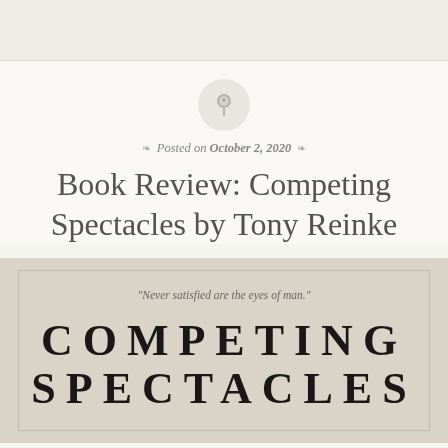[Figure (illustration): A pushpin icon inside a light gray circle, centered on the page]
Posted on October 2, 2020
Book Review: Competing Spectacles by Tony Reinke
[Figure (illustration): Book cover image with tan/beige background inside a bordered rectangle. Shows quote 'Never satisfied are the eyes of man.' and large bold text 'COMPETING SPECTACLES']